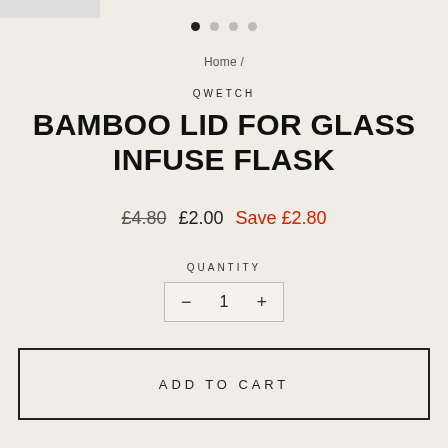[Figure (other): Pagination dots indicating image carousel position, first dot filled black, three dots grey]
Home /
QWETCH
BAMBOO LID FOR GLASS INFUSE FLASK
£4.80  £2.00  Save £2.80
QUANTITY
− 1 +
ADD TO CART